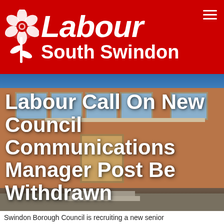[Figure (logo): Labour South Swindon red header banner with white rose logo, 'Labour' in italic bold, and 'South Swindon' below, plus hamburger menu icon top right]
[Figure (photo): Photograph of Swindon Borough Council building, a red-brick municipal building with stone detailing, wooden entrance doors, balconies, and a car park in the foreground under a blue sky]
Labour Call On New Council Communications Manager Post Be Withdrawn
Swindon Borough Council is recruiting a new senior